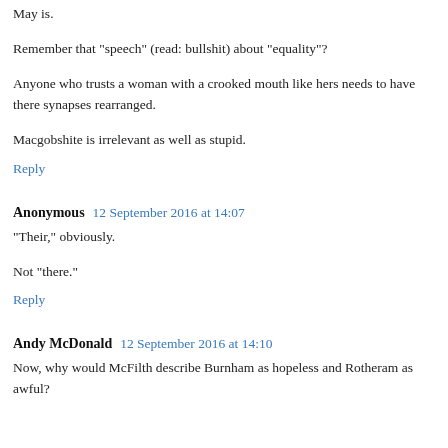May is.
Remember that "speech" (read: bullshit) about "equality"?
Anyone who trusts a woman with a crooked mouth like hers needs to have there synapses rearranged.
Macgobshite is irrelevant as well as stupid.
Reply
Anonymous  12 September 2016 at 14:07
"Their," obviously.
Not "there."
Reply
Andy McDonald  12 September 2016 at 14:10
Now, why would McFilth describe Burnham as hopeless and Rotheram as awful?